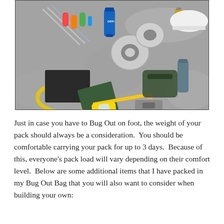[Figure (photo): Overhead view of various emergency/bug-out bag supplies laid out on a stone surface, including insect repellent spray, duct tape, batteries, a hard hat, a black case, yellow tubing, a notebook, a pencil, a yellow hand sanitizer holder, hand sanitizer, a green toiletry bag, a metal flask, a small silver case, and other items.]
Just in case you have to Bug Out on foot, the weight of your pack should always be a consideration.  You should be comfortable carrying your pack for up to 3 days.  Because of this, everyone's pack load will vary depending on their comfort level.  Below are some additional items that I have packed in my Bug Out Bag that you will also want to consider when building your own: